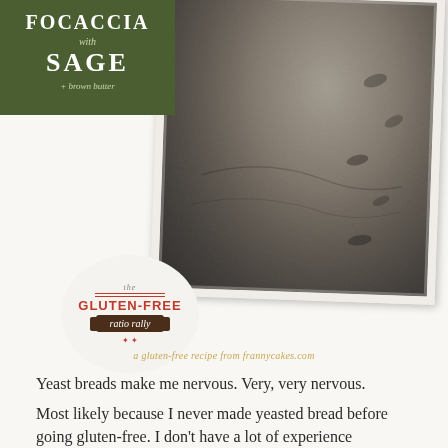FOCACCIA with SAGE + brown butter
[Figure (photo): Black and white polaroid-style photograph of focaccia bread with sage leaves, tilted at a slight angle]
[Figure (logo): The Gluten-Free Ratio Rally badge/logo with circular design and rolling pin graphic]
a gluten-free recipe from frannycakes.com
Yeast breads make me nervous. Very, very nervous.
Most likely because I never made yeasted bread before going gluten-free. I don't have a lot of experience knowing how the dough or batter should behave.